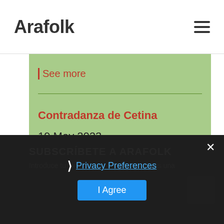Arafolk
See more
Contradanza de Cetina
19 May 2023
SUBSCRÍBETE A ARAFOLK
Introduce tu dirección de correo y recibirás una
Privacy Preferences
I Agree